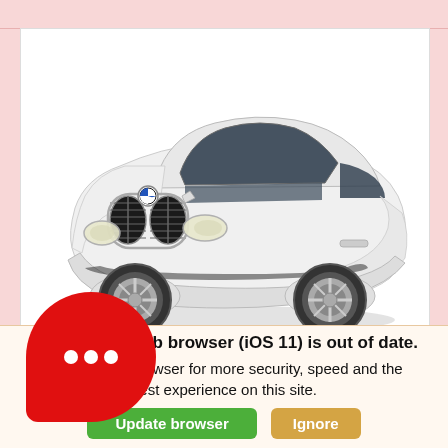[Figure (photo): White BMW X4 AWD SUV/crossover vehicle photographed from a front three-quarter angle against a white background]
2019 BMW X4 AWD
Your web browser (iOS 11) is out of date. Update your browser for more security, speed and the best experience on this site.
Update browser
Ignore